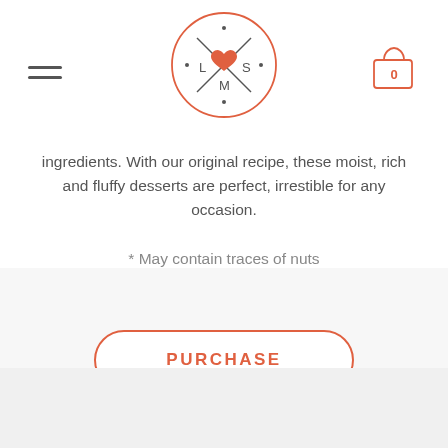[Figure (logo): Circular logo with X pattern, heart, and letters L, S, M in coral/orange color]
ingredients. With our original recipe, these moist, rich and fluffy desserts are perfect, irrestible for any occasion.
* May contain traces of nuts
[Figure (other): PURCHASE button with coral/orange rounded border]